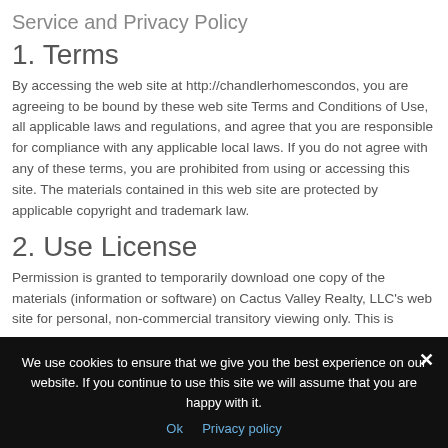Service and Privacy Policy
1. Terms
By accessing the web site at http://chandlerhomescondos, you are agreeing to be bound by these web site Terms and Conditions of Use, all applicable laws and regulations, and agree that you are responsible for compliance with any applicable local laws. If you do not agree with any of these terms, you are prohibited from using or accessing this site. The materials contained in this web site are protected by applicable copyright and trademark law.
2. Use License
Permission is granted to temporarily download one copy of the materials (information or software) on Cactus Valley Realty, LLC's web site for personal, non-commercial transitory viewing only. This is
We use cookies to ensure that we give you the best experience on our website. If you continue to use this site we will assume that you are happy with it.
Ok   Privacy policy